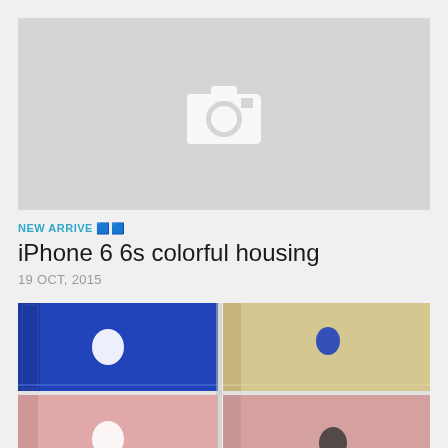[Figure (photo): Placeholder image with camera icon on grey background]
NEW ARRIVE 📷
iPhone 6 6s colorful housing
19 OCT, 2015
[Figure (photo): Photo of multiple iPhone 6/6s units with colorful housings including blue, gold, and rose gold/pink backs with Apple logos visible]